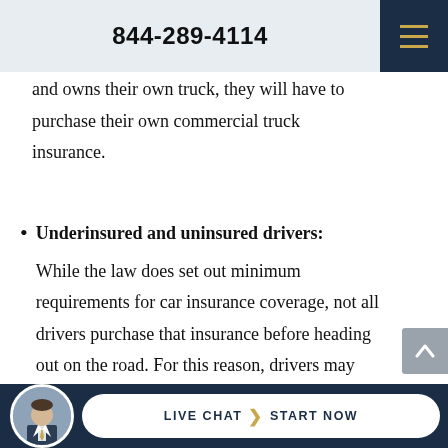844-289-4114
and owns their own truck, they will have to purchase their own commercial truck insurance.
Underinsured and uninsured drivers: While the law does set out minimum requirements for car insurance coverage, not all drivers purchase that insurance before heading out on the road. For this reason, drivers may choose to purchase su...
LIVE CHAT  START NOW